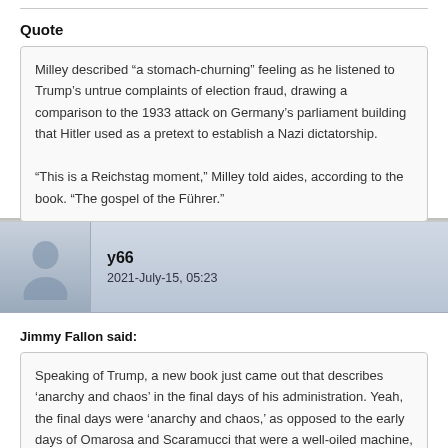Quote
Milley described “a stomach-churning” feeling as he listened to Trump’s untrue complaints of election fraud, drawing a comparison to the 1933 attack on Germany’s parliament building that Hitler used as a pretext to establish a Nazi dictatorship.

“This is a Reichstag moment,” Milley told aides, according to the book. “The gospel of the Führer.”
y66
2021-July-15, 05:23
Jimmy Fallon said:
Speaking of Trump, a new book just came out that describes ‘anarchy and chaos’ in the final days of his administration. Yeah, the final days were ‘anarchy and chaos,’ as opposed to the early days of Omarosa and Scaramucci that were a well-oiled machine, I guess.